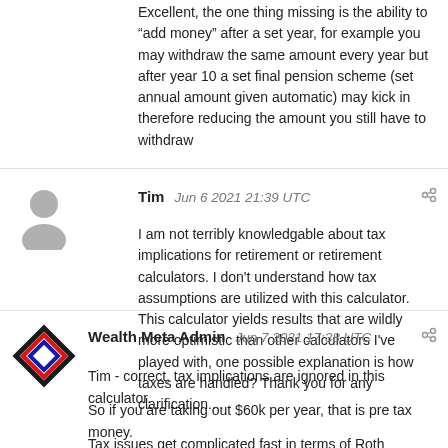Excellent, the one thing missing is the ability to “add money” after a set year, for example you may withdraw the same amount every year but after year 10 a set final pension scheme (set annual amount given automatic) may kick in therefore reducing the amount you still have to withdraw
Tim   Jun 6 2021 21:39 UTC
I am not terribly knowledgable about tax implications for retirement or retirement calculators. I don't understand how tax assumptions are utilized with this calculator. This calculator yields results that are wildly more optimistic than other calculators I've played with, one possible explanation is how taxes are handled? Thank you for any clarification....
Wealth Meta Admin   Jun 7 2021 17:38 UTC
Tim - correct, tax implications are ignored in this calculator.
So if you are taking out $60k per year, that is pre tax money.
Tax issues get complicated fast in terms of Roth accounts (not taxed), required minimum withdrawals (which force a person to